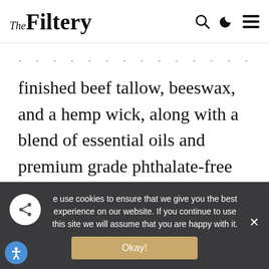The Filtery
finished beef tallow, beeswax, and a hemp wick, along with a blend of essential oils and premium grade phthalate-free fragrance oils.
Shop Farmers Candle Co
We use cookies to ensure that we give you the best experience on our website. If you continue to use this site we will assume that you are happy with it.